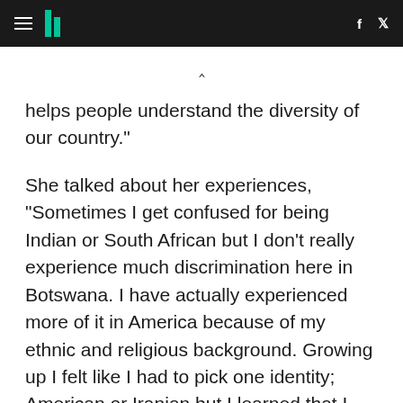HuffPost navigation with hamburger menu, logo, Facebook and Twitter icons
helps people understand the diversity of our country."
She talked about her experiences, "Sometimes I get confused for being Indian or South African but I don't really experience much discrimination here in Botswana. I have actually experienced more of it in America because of my ethnic and religious background. Growing up I felt like I had to pick one identity; American or Iranian but I learned that I can be both."